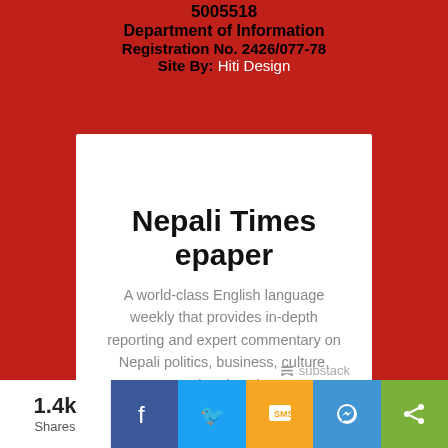5005518
Department of Information
Registration No. 2426/077-78
Site By: Hiti Design
Nepali Times epaper
A world-class English language weekly that provides in-depth reporting and expert commentary on Nepali politics, business, culture, travel and society.
Type your email... Subscribe
1.4k Shares